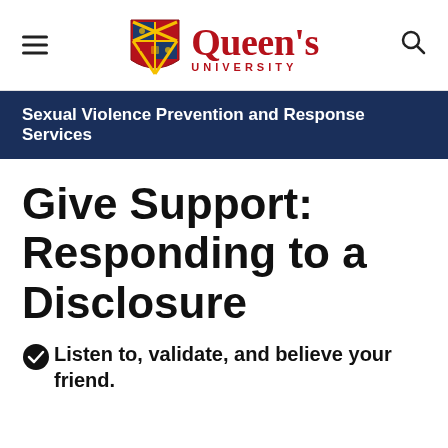[Figure (logo): Queen's University logo with shield crest and red text reading Queen's University]
Sexual Violence Prevention and Response Services
Give Support: Responding to a Disclosure
Listen to, validate, and believe your friend.